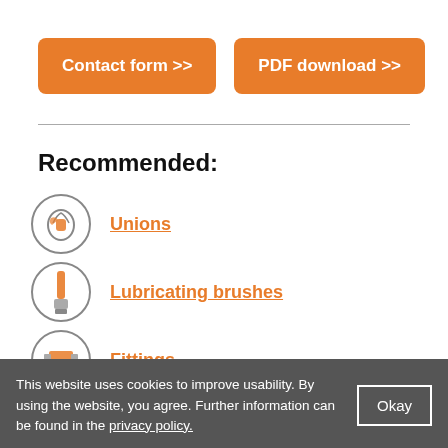[Figure (other): Orange button: Contact form >>]
[Figure (other): Orange button: PDF download >>]
Recommended:
Unions
Lubricating brushes
Fittings
hoses
This website uses cookies to improve usability. By using the website, you agree. Further information can be found in the privacy policy.